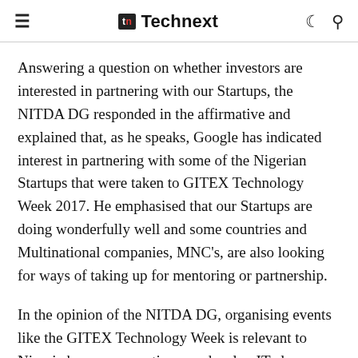≡  tn Technext  ☾ 🔍
Answering a question on whether investors are interested in partnering with our Startups, the NITDA DG responded in the affirmative and explained that, as he speaks, Google has indicated interest in partnering with some of the Nigerian Startups that were taken to GITEX Technology Week 2017. He emphasised that our Startups are doing wonderfully well and some countries and Multinational companies, MNC's, are also looking for ways of taking up for mentoring or partnership.
In the opinion of the NITDA DG, organising events like the GITEX Technology Week is relevant to Nigeria because no nation can develop IT alone without sharing their experiences with others as they need to